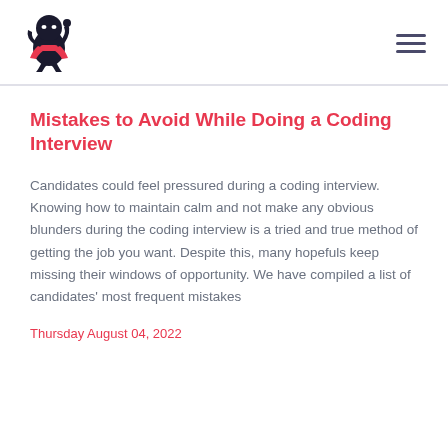[Figure (logo): Ninja coding mascot logo — black ninja character with red scarf]
Mistakes to Avoid While Doing a Coding Interview
Candidates could feel pressured during a coding interview. Knowing how to maintain calm and not make any obvious blunders during the coding interview is a tried and true method of getting the job you want. Despite this, many hopefuls keep missing their windows of opportunity. We have compiled a list of candidates' most frequent mistakes
Thursday August 04, 2022